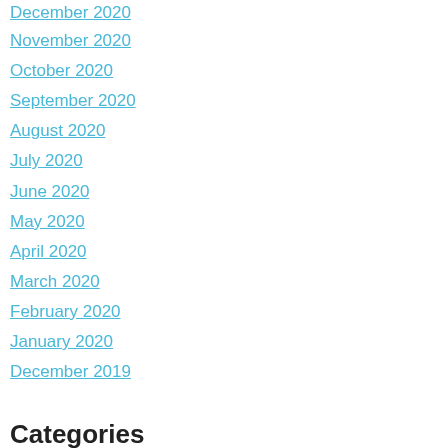December 2020
November 2020
October 2020
September 2020
August 2020
July 2020
June 2020
May 2020
April 2020
March 2020
February 2020
January 2020
December 2019
Categories
Bruxism/TMJ